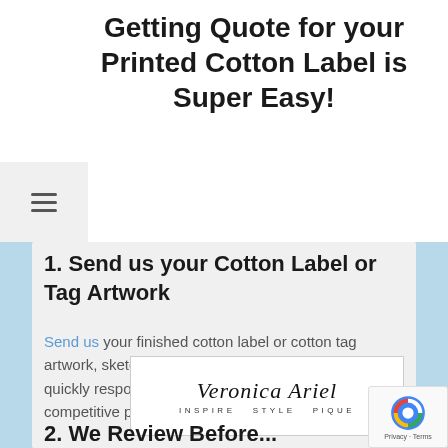Getting Quote for your Printed Cotton Label is Super Easy!
1. Send us your Cotton Label or Tag Artwork
Send us your finished cotton label or cotton tag artwork, sketch, or even just your concept and we will quickly respond with professional feedback and a very competitive price.
[Figure (logo): Veronica Ariel brand logo with cursive signature text and tagline INSPIRE STYLE PIQUE]
2. We Review Before...